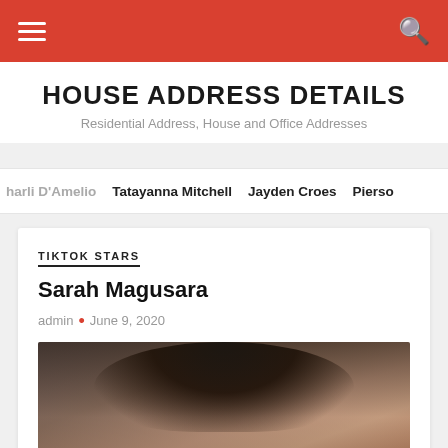HOUSE ADDRESS DETAILS — Residential Address, House and Office Addresses
harli D'Amelio
Tatayanna Mitchell
Jayden Croes
Pierso
TIKTOK STARS
Sarah Magusara
admin • June 9, 2020
[Figure (photo): Photo of Sarah Magusara, a young woman with dark hair]